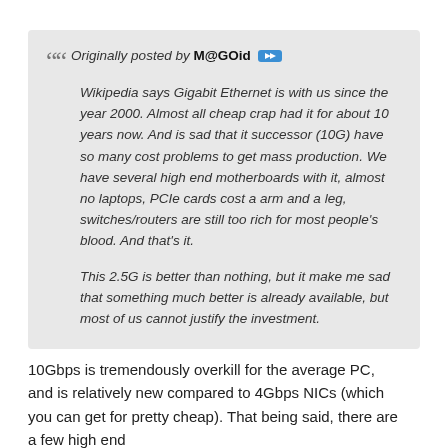Originally posted by M@GOid [arrow icon]

Wikipedia says Gigabit Ethernet is with us since the year 2000. Almost all cheap crap had it for about 10 years now. And is sad that it successor (10G) have so many cost problems to get mass production. We have several high end motherboards with it, almost no laptops, PCIe cards cost a arm and a leg, switches/routers are still too rich for most people's blood. And that's it.

This 2.5G is better than nothing, but it make me sad that something much better is already available, but most of us cannot justify the investment.
10Gbps is tremendously overkill for the average PC, and is relatively new compared to 4Gbps NICs (which you can get for pretty cheap). That being said, there are a few high end